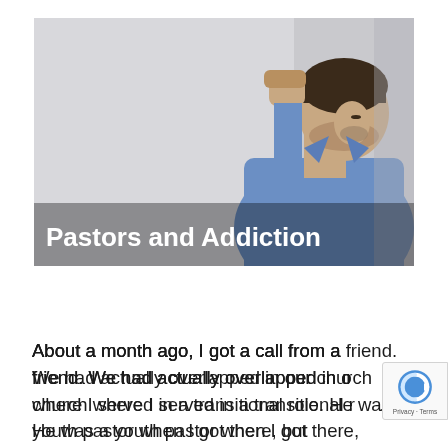[Figure (photo): A man in a blue shirt leaning his head against a wall with his fist raised, appearing distressed. The image has a light gray background. Overlaid text reads 'Pastors and Addiction' in white bold font at the bottom left of the image.]
About a month ago, I got a call from a friend. We had actually overlapped in our church where I served in a transitional role. He was a youth pastor when I got there, but